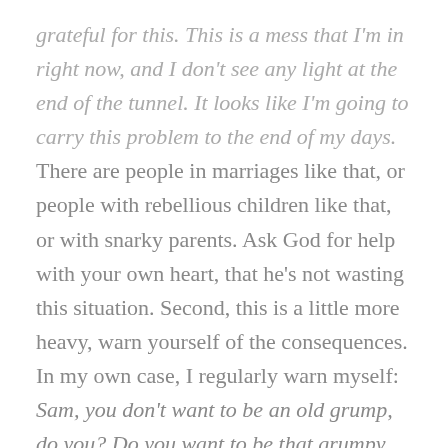grateful for this. This is a mess that I'm in right now, and I don't see any light at the end of the tunnel. It looks like I'm going to carry this problem to the end of my days. There are people in marriages like that, or people with rebellious children like that, or with snarky parents. Ask God for help with your own heart, that he's not wasting this situation. Second, this is a little more heavy, warn yourself of the consequences. In my own case, I regularly warn myself: Sam, you don't want to be an old grump, do you? Do you want to be that grumpy old guy, that Ebeneezer Scrooge guy? No, I don't want to be that guy. Or, consider the prodigal son who took his inheritance for granted. I've asked many people about that parable: What do you think his